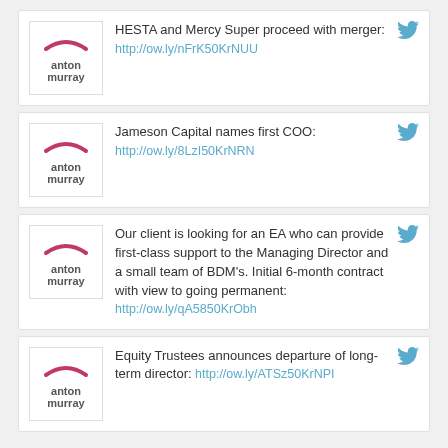HESTA and Mercy Super proceed with merger: http://ow.ly/nFrK50KrNUU
Jameson Capital names first COO: http://ow.ly/8LzI50KrNRN
Our client is looking for an EA who can provide first-class support to the Managing Director and a small team of BDM's. Initial 6-month contract with view to going permanent: http://ow.ly/qA5850KrObh
Equity Trustees announces departure of long-term director: http://ow.ly/ATSz50KrNPI
OUR CLIENTS INCLUDE